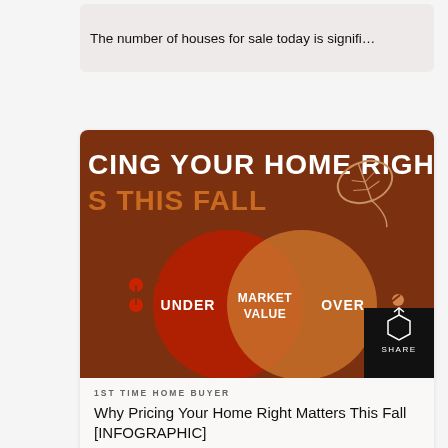The number of houses for sale today is signifi…
[Figure (infographic): Venn diagram infographic titled 'PRICING YOUR HOME RIGHT THIS FALL' showing two overlapping circles on a dark orange/brown background. Left red circle labeled 'UNDER', overlapping center labeled 'MARKET VALUE', right orange circle labeled 'OVER'. Decorative leaf and berry branch elements visible.]
1ST TIME HOME BUYER
Why Pricing Your Home Right Matters This Fall [INFOGRAPHIC]
Some Highlights As a seller today, you may t…